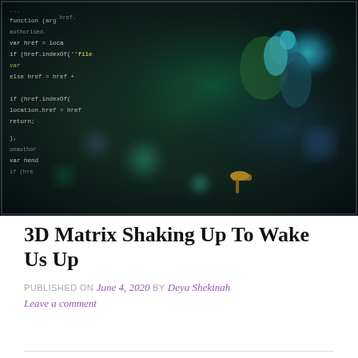[Figure (photo): Dark photo of a computer screen showing JavaScript code with variables, href assignments, and conditionals. A colorful bokeh bird (peacock-like) figure is reflected or overlaid on the right side of the image.]
3D Matrix Shaking Up To Wake Us Up
PUBLISHED ON June 4, 2020 by Deya Shekinah
Leave a comment